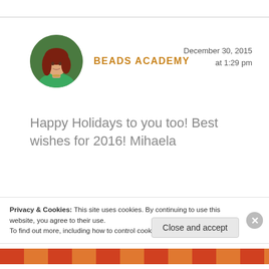[Figure (photo): Circular avatar photo of a woman with red hair wearing a green top, set against a green background]
BEADS ACADEMY
December 30, 2015 at 1:29 pm
Happy Holidays to you too! Best wishes for 2016! Mihaela
Reply
Privacy & Cookies: This site uses cookies. By continuing to use this website, you agree to their use.
To find out more, including how to control cookies, see here: Cookie Policy
Close and accept